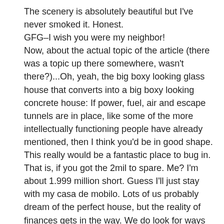The scenery is absolutely beautiful but I've never smoked it. Honest.
GFG–I wish you were my neighbor!
Now, about the actual topic of the article (there was a topic up there somewhere, wasn't there?)...Oh, yeah, the big boxy looking glass house that converts into a big boxy looking concrete house: If power, fuel, air and escape tunnels are in place, like some of the more intellectually functioning people have already mentioned, then I think you'd be in good shape. This really would be a fantastic place to bug in. That is, if you got the 2mil to spare. Me? I'm about 1.999 million short. Guess I'll just stay with my casa de mobilo. Lots of us probably dream of the perfect house, but the reality of finances gets in the way. We do look for ways to modify and adapt some of the ideas we see in places like this though.
Jonny V–don't give up on us yet. We just get the 90% prepper/10% moonbat ratio inverted sometimes. Maybe it's just a coping mechanism for dealing with so much uncertainty in our screwed up world! In all